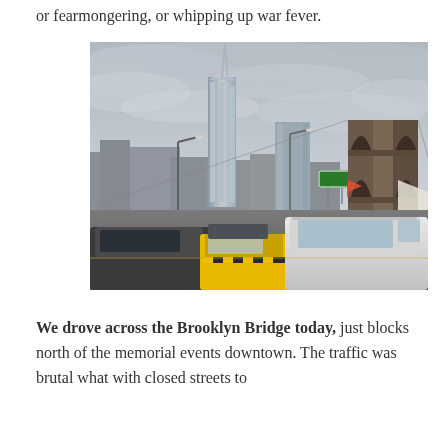or fearmongering, or whipping up war fever.
[Figure (photo): Photograph of traffic on the Brooklyn Bridge with the One World Trade Center tower and New York City skyline visible under an overcast grey sky. Cars including a yellow taxi cab and a white SUV are visible in the foreground, with the Brooklyn Bridge tower arch prominent on the right side.]
We drove across the Brooklyn Bridge today, just blocks north of the memorial events downtown. The traffic was brutal what with closed streets to